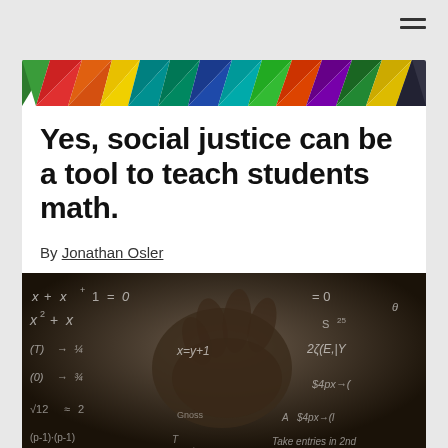≡ (hamburger menu icon)
[Figure (illustration): Colorful geometric triangular mosaic banner strip in rainbow colors including green, red, orange, yellow, teal, blue, purple]
Yes, social justice can be a tool to teach students math.
By Jonathan Osler
[Figure (photo): Dark photo of a hand/fist touching a chalkboard or glass covered with mathematical equations and formulas written in white chalk]